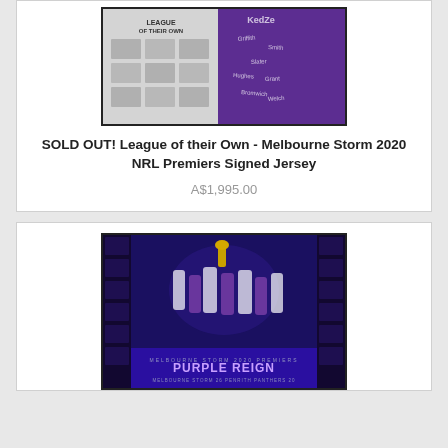[Figure (photo): Framed Melbourne Storm 2020 NRL Premiers signed jersey with team photos on left panel and signed purple jersey on right]
SOLD OUT! League of their Own - Melbourne Storm 2020 NRL Premiers Signed Jersey
A$1,995.00
[Figure (photo): Framed Melbourne Storm 2020 Purple Reign premiers print featuring team celebration photo with player portraits around the border and Purple Reign text banner at bottom]